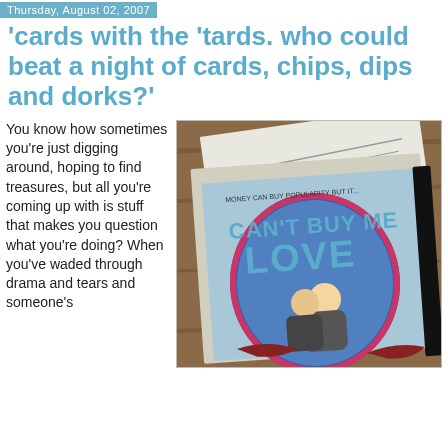Thursday, August 02, 2007
'cards with the 'tards. who could beat a night of cards, chips, dips and dorks?'
You know how sometimes you're just digging around, hoping to find treasures, but all you're coming up with is stuff that makes you question what you're doing? When you've waded through drama and tears and someone's
[Figure (photo): Photo of the 'Can't Buy Me Love' DVD cover on a wooden table, with some papers in the background. The DVD cover shows two teenagers embracing inside a decorative frame, with the tagline 'MONEY CAN BUY POPULARITY BUT IT... CAN'T BUY ME LOVE'.]